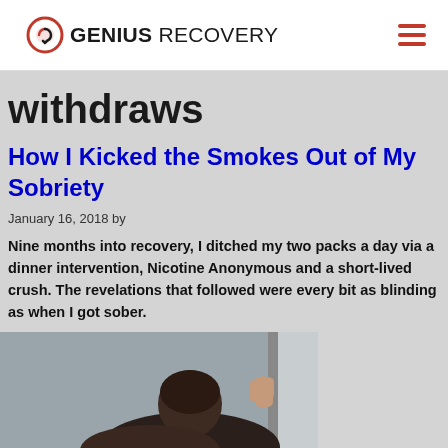GENIUS RECOVERY
withdraws
How I Kicked the Smokes Out of My Sobriety
January 16, 2018 by
Nine months into recovery, I ditched my two packs a day via a dinner intervention, Nicotine Anonymous and a short-lived crush. The revelations that followed were every bit as blinding as when I got sober.
[Figure (photo): Person with head down, hand on window, looking distressed]